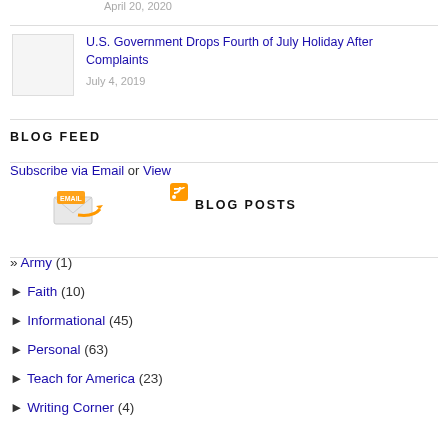April 20, 2020
[Figure (photo): Thumbnail image placeholder for article]
U.S. Government Drops Fourth of July Holiday After Complaints
July 4, 2019
BLOG FEED
Subscribe via Email or View
[Figure (illustration): Email subscription envelope icon with orange arrow]
[Figure (illustration): RSS feed icon]
BLOG POSTS
» Army (1)
► Faith (10)
► Informational (45)
► Personal (63)
► Teach for America (23)
► Writing Corner (4)